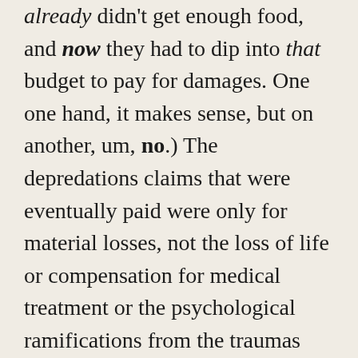already didn't get enough food, and now they had to dip into that budget to pay for damages. One one hand, it makes sense, but on another, um, no.) The depredations claims that were eventually paid were only for material losses, not the loss of life or compensation for medical treatment or the psychological ramifications from the traumas inflicted. Nice. Especially considering how women were viewed and treated back then.
The loss of property was staggering. Homes and their contents were burned, cattle were killed and stampeded, and everything that could be broken and destroyed was broken and destroyed. Claims were made for